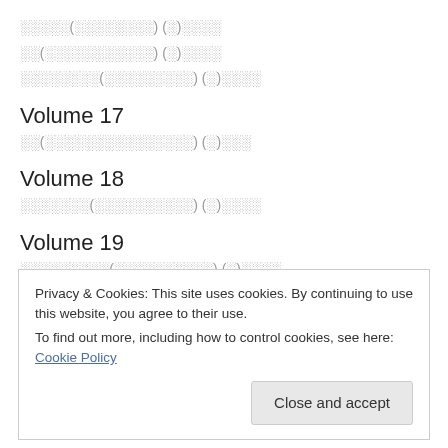░░░░░(░░░░░░░░) (░)░░░░
░░(░░░░░░░░░░░) (░)░░░░
░░░░░░░░(░░░░░░░░░) (░)░░░░
Volume 17
░░(░░░░░░░░░░░░░░░) (░)░░░
Volume 18
░░░░░░░(░░░░░░░░░░) (░)░░░░
Volume 19
░░░░░░░░░(░░░░░░░░░░) (░)░░░░
Privacy & Cookies: This site uses cookies. By continuing to use this website, you agree to their use.
To find out more, including how to control cookies, see here: Cookie Policy